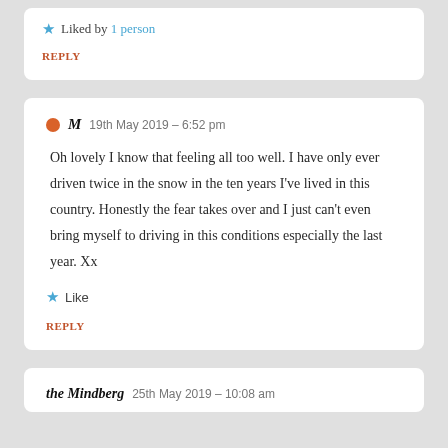Liked by 1 person
REPLY
M  19th May 2019 – 6:52 pm
Oh lovely I know that feeling all too well. I have only ever driven twice in the snow in the ten years I've lived in this country. Honestly the fear takes over and I just can't even bring myself to driving in this conditions especially the last year. Xx
Like
REPLY
the Mindberg  25th May 2019 – 10:08 am